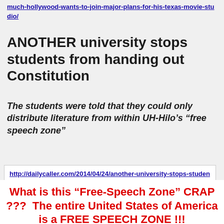much-hollywood-wants-to-join-major-plans-for-his-texas-movie-studio/
ANOTHER university stops students from handing out Constitution
The students were told that they could only distribute literature from within UH-Hilo’s “free speech zone”
http://dailycaller.com/2014/04/24/another-university-stops-students-from-handing-out-constitution/#ixzz2zwaE657T
What is this “Free-Speech Zone” CRAP ???  The entire United States of America is a FREE SPEECH ZONE !!!